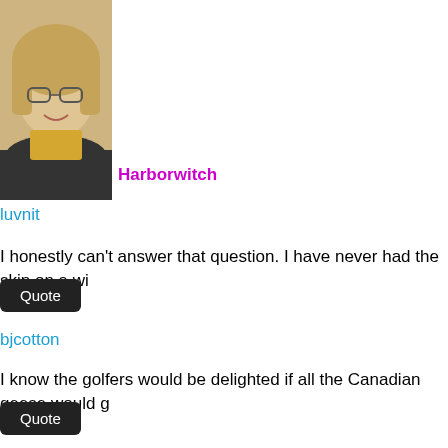luvnit
I honestly can't answer that question. I have never had the skin on a wi
Quote
bjcotton
I know the golfers would be delighted if all the Canadian geese would g
Quote
[Figure (photo): Profile photo of a woman with blonde hair and glasses, smiling]
Harborwitch
That's one of the things I really miss about the Marina - the Canadians